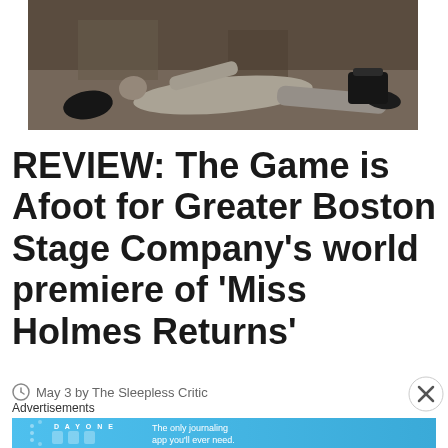[Figure (photo): A person lying on a stage floor in theatrical costume, viewed from above/side angle. A bag is visible nearby on the stage set.]
REVIEW: The Game is Afoot for Greater Boston Stage Company's world premiere of 'Miss Holmes Returns'
May 3 by The Sleepless Critic
Advertisements
[Figure (screenshot): DAY ONE journaling app advertisement banner: 'The only journaling app you'll ever need.']